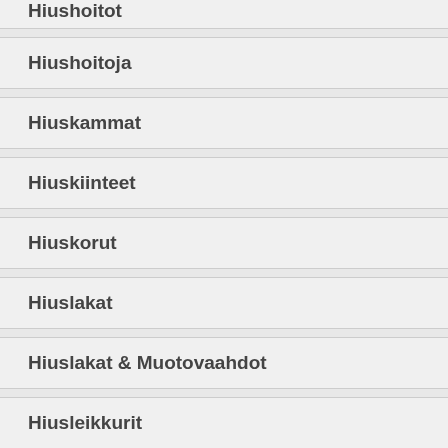Hiushoitoja
Hiuskammat
Hiuskiinteet
Hiuskorut
Hiuslakat
Hiuslakat & Muotovaahdot
Hiusleikkurit
Hiuslenkit
Hiusliidut